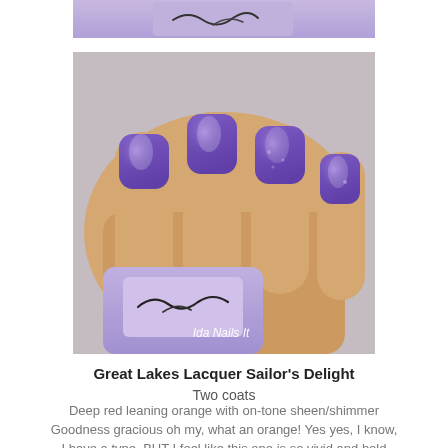[Figure (photo): Partial top photo showing a purple nail polish bottle label with cursive text, cropped at the top of the page]
[Figure (photo): Close-up photo of a hand with four fingers showing bright purple/violet nail polish with shimmer, holding a purple nail polish bottle labeled with cursive script. Watermark reads 'Ida Nails It' in white text at bottom right.]
Great Lakes Lacquer Sailor's Delight
Two coats
Deep red leaning orange with on-tone sheen/shimmer Goodness gracious oh my, what an orange! Yes yes, I know, I have a type. BUT I feel like this one is so vivid and bold